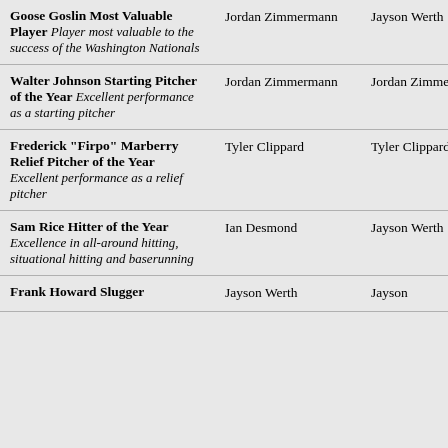| Award | Winner 1 | Winner 2 |
| --- | --- | --- |
| Goose Goslin Most Valuable Player Player most valuable to the success of the Washington Nationals | Jordan Zimmermann | Jayson Werth |
| Walter Johnson Starting Pitcher of the Year Excellent performance as a starting pitcher | Jordan Zimmermann | Jordan Zimmermann |
| Frederick "Firpo" Marberry Relief Pitcher of the Year Excellent performance as a relief pitcher | Tyler Clippard | Tyler Clippard |
| Sam Rice Hitter of the Year Excellence in all-around hitting, situational hitting and baserunning | Ian Desmond | Jayson Werth |
| Frank Howard Slugger | Jayson Werth | Jayson |